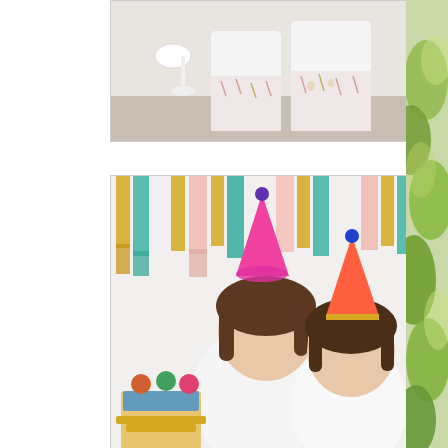[Figure (photo): Two children sitting, wearing white pajamas with floral/leaf print pattern, one child partially visible on left, white lamp in background]
[Figure (photo): Two young girls wearing white t-shirts and colorful birthday party hats (pink and orange/coral cones with blue pom-poms), tassel garland decoration in teal, pink and gold hanging in background, cupcakes visible in lower left]
[Figure (photo): Partial photo on right edge showing green foliage/garden background]